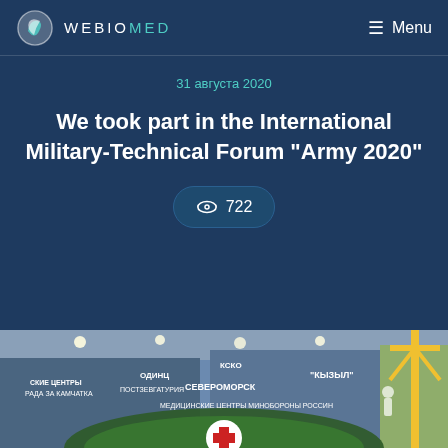WEBIOMED  Menu
31 августа 2020
We took part in the International Military-Technical Forum "Army 2020"
722
[Figure (photo): Exhibition hall photo showing military medical forum booths with Russian text signage including СЕВЕРОМОРСК, КЫЗЫЛ, МЕДИЦИНСКИЕ ЦЕНТРЫ МИНОБОРОНЫ РОССИН, and a red cross symbol. A yellow crane structure is visible on the right.]